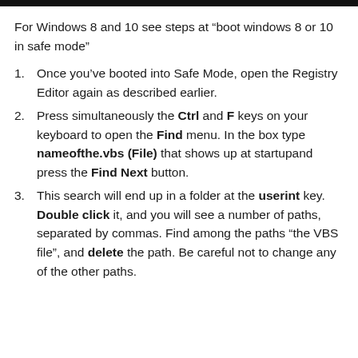For Windows 8 and 10 see steps at “boot windows 8 or 10 in safe mode”
Once you’ve booted into Safe Mode, open the Registry Editor again as described earlier.
Press simultaneously the Ctrl and F keys on your keyboard to open the Find menu. In the box type nameofthe.vbs (File) that shows up at startupand press the Find Next button.
This search will end up in a folder at the userint key. Double click it, and you will see a number of paths, separated by commas. Find among the paths “the VBS file”, and delete the path. Be careful not to change any of the other paths.